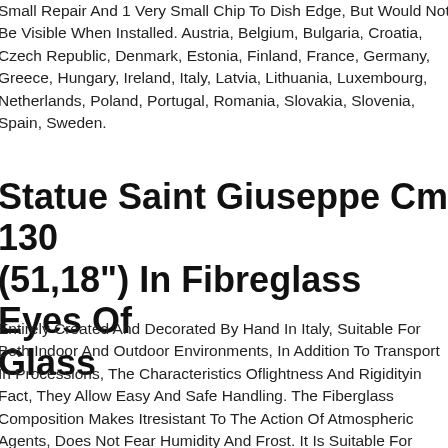Small Repair And 1 Very Small Chip To Dish Edge, But Would Not Be Visible When Installed. Austria, Belgium, Bulgaria, Croatia, Czech Republic, Denmark, Estonia, Finland, France, Germany, Greece, Hungary, Ireland, Italy, Latvia, Lithuania, Luxembourg, Netherlands, Poland, Portugal, Romania, Slovakia, Slovenia, Spain, Sweden.
Statue Saint Giuseppe Cm 130 (51,18") In Fibreglass Eyes Of Glass
Entirely Created And Decorated By Hand In Italy, Suitable For Both Indoor And Outdoor Environments, In Addition To Transport In Processions, The Characteristics Oflightness And Rigidityin Fact, They Allow Easy And Safe Handling. The Fiberglass Composition Makes Itresistant To The Action Of Atmospheric Agents, Does Not Fear Humidity And Frost. It Is Suitable For Display In Caves, Niches, Balconies, Window Sills And Garden Furniture. Thereresistance To Breaking From Falling, Greater Than Other Materials Such As Plaster Or Ceramic, Makes It Ideal For Interiors As Well. We Therefore Use Materialsscratchproofandshockproofmost Suitable, Taking Care Of The Packaging In Every Detail. We Want Each Item To Be